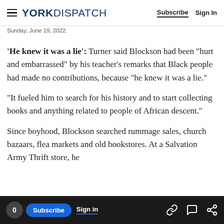YORK DISPATCH | Subscribe | Sign In
Sunday, June 19, 2022.
‘He knew it was a lie’: Turner said Blockson had been “hurt and embarrassed” by his teacher’s remarks that Black people had made no contributions, because “he knew it was a lie.”
“It fueled him to search for his history and to start collecting books and anything related to people of African descent.”
Since boyhood, Blockson searched rummage sales, church bazaars, flea markets and old bookstores. At a Salvation Army Thrift store, he
0 Subscribe Sign in
From Slavery” (1900). James Weldon Johnson’s